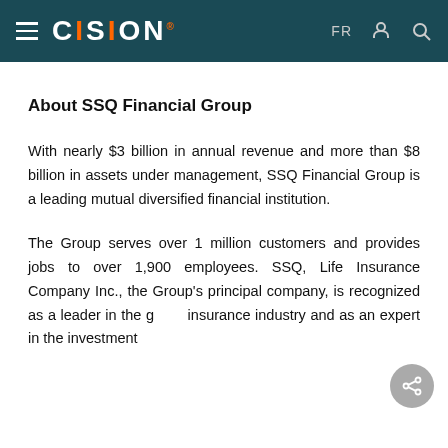CISION — FR
About SSQ Financial Group
With nearly $3 billion in annual revenue and more than $8 billion in assets under management, SSQ Financial Group is a leading mutual diversified financial institution.
The Group serves over 1 million customers and provides jobs to over 1,900 employees. SSQ, Life Insurance Company Inc., the Group's principal company, is recognized as a leader in the group insurance industry and as an expert in the investment